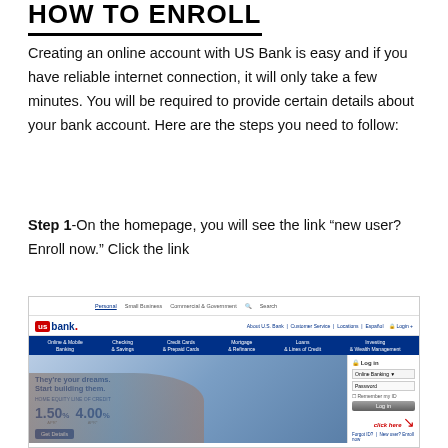HOW TO ENROLL
Creating an online account with US Bank is easy and if you have reliable internet connection, it will only take a few minutes. You will be required to provide certain details about your bank account. Here are the steps you need to follow:
Step 1-On the homepage, you will see the link “new user? Enroll now.” Click the link
[Figure (screenshot): Screenshot of the US Bank homepage showing the navigation menu, login sidebar with a 'click here' annotation pointing to the 'New user? Enroll now' link, and a hero section showing home equity line of credit rates of 1.50% APR and 4.00% APR.]